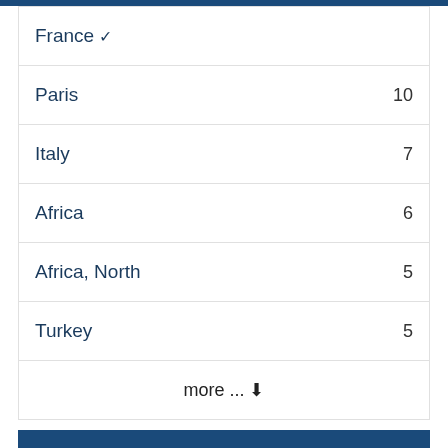France ✓
Paris  10
Italy  7
Africa  6
Africa, North  5
Turkey  5
more ... ▼
Genre
Language